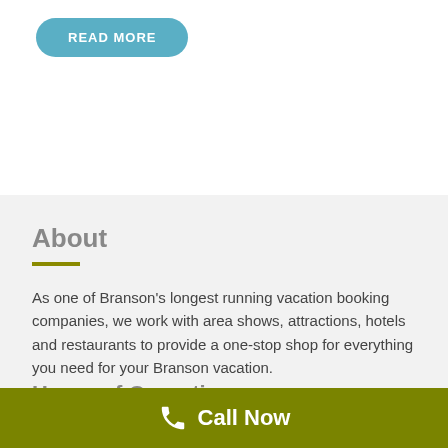[Figure (other): READ MORE button — teal/blue rounded rectangle button with white text]
About
As one of Branson's longest running vacation booking companies, we work with area shows, attractions, hotels and restaurants to provide a one-stop shop for everything you need for your Branson vacation.
Hours of Operation
Call Now